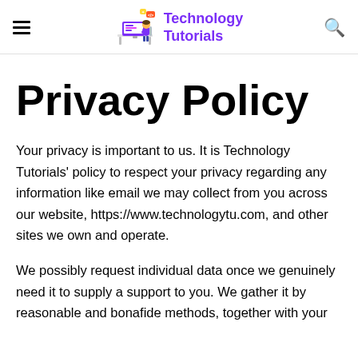Technology Tutorials
Privacy Policy
Your privacy is important to us. It is Technology Tutorials' policy to respect your privacy regarding any information like email we may collect from you across our website, https://www.technologytu.com, and other sites we own and operate.
We possibly request individual data once we genuinely need it to supply a support to you. We gather it by reasonable and bonafide methods, together with your